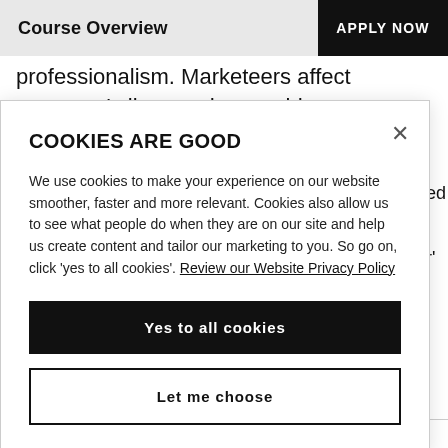Course Overview    APPLY NOW
professionalism. Marketeers affect everyone’s lives and so could you.
COOKIES ARE GOOD
We use cookies to make your experience on our website smoother, faster and more relevant. Cookies also allow us to see what people do when they are on our site and help us create content and tailor our marketing to you. So go on, click ‘yes to all cookies’. Review our Website Privacy Policy
Yes to all cookies
Let me choose
UCAS Code